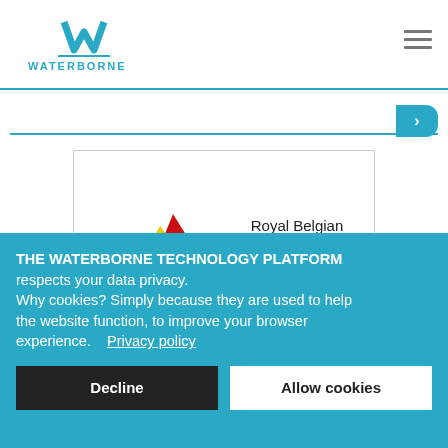[Figure (logo): Waterborne logo with teal W symbol and WATERBORNE text below]
[Figure (logo): Royal Belgian Shipowners' Association logo with stylized ship in black, yellow and red]
Royal Belgian Shipowners' Association
THE WATERBORNE TECHNOLOGY PLATFORM respects your data privacy. Why cookies? Simply because they are used to help the website function, to improve your browser experience.    Privacy policy
Decline
Allow cookies